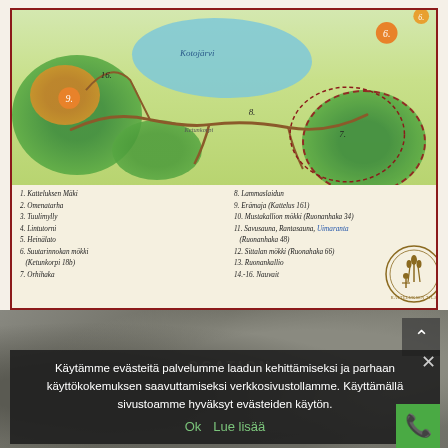[Figure (map): Illustrated map of Katteluksen Tila / Kotojärvi area showing numbered locations (1-16), lake Kotojärvi, forested areas, paths and roads. Features orange numbered circles for locations. Below map is a legend listing: 1. Katteluksen Mäki, 2. Omenatarha, 3. Tuulimylly, 4. Lintutorni, 5. Heinälato, 6. Suutarinnokan mökki (Ketunkorpi 18b), 7. Orhihaka, 8. Lammaslaidun, 9. Erämaja (Kattelus 161), 10. Mustakallion mökki (Ruonanhaka 34), 11. Savusauna, Rantasauna, Uimaranta (Ruonanhaka 48), 12. Sittalan mökki (Ruonahaka 66), 13. Ruonankallio, 14.-16. Nauvait. Circular logo of Katteluksen Tila in bottom right.]
[Figure (photo): Photograph of rocky textured surface (stone/ground) in grey tones, with LOCATION text overlay and a cookie consent banner overlay.]
Käytämme evästeitä palvelumme laadun kehittämiseksi ja parhaan käyttökokemuksen saavuttamiseksi verkkosivustollamme. Käyttämällä sivustoamme hyväksyt evästeiden käytön.
Ok   Lue lisää